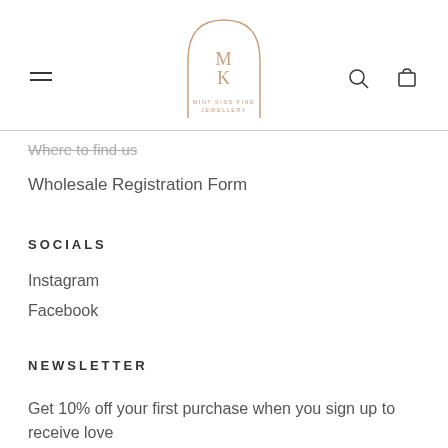Mint Kiss Fine Jewellery — site header with logo, hamburger menu, search and cart icons
Where to find us
Wholesale Registration Form
SOCIALS
Instagram
Facebook
NEWSLETTER
Get 10% off your first purchase when you sign up to receive love from...